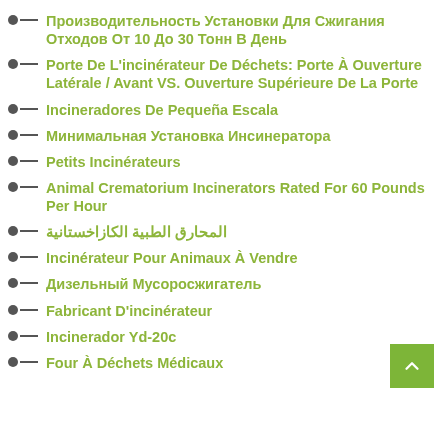Производительность Установки Для Сжигания Отходов От 10 До 30 Тонн В День
Porte De L'incinérateur De Déchets: Porte À Ouverture Latérale / Avant VS. Ouverture Supérieure De La Porte
Incineradores De Pequeña Escala
Минимальная Установка Инсинератора
Petits Incinérateurs
Animal Crematorium Incinerators Rated For 60 Pounds Per Hour
المحارق الطبية الكازاخستانية
Incinérateur Pour Animaux À Vendre
Дизельный Мусоросжигатель
Fabricant D'incinérateur
Incinerador Yd-20c
Four À Déchets Médicaux